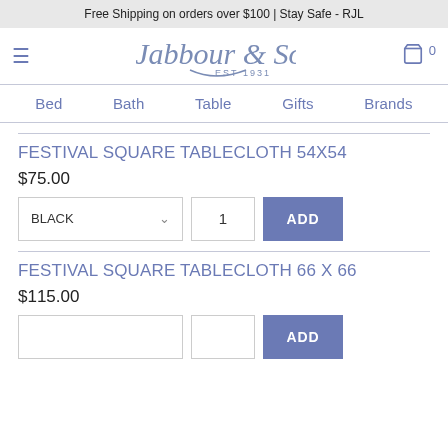Free Shipping on orders over $100 | Stay Safe - RJL
[Figure (logo): R. Jabbour & Sons EST 1931 script logo in blue-gray]
Bed  Bath  Table  Gifts  Brands
FESTIVAL SQUARE TABLECLOTH 54X54
$75.00
BLACK  1  ADD
FESTIVAL SQUARE TABLECLOTH 66 X 66
$115.00
ADD